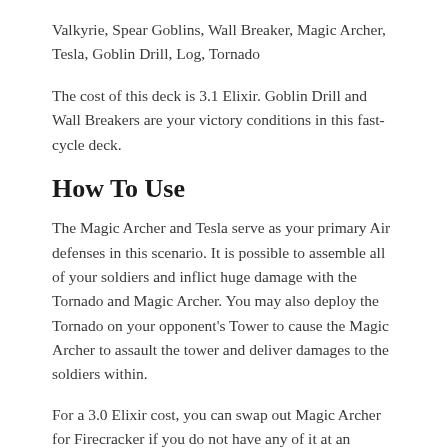Valkyrie, Spear Goblins, Wall Breaker, Magic Archer, Tesla, Goblin Drill, Log, Tornado
The cost of this deck is 3.1 Elixir. Goblin Drill and Wall Breakers are your victory conditions in this fast-cycle deck.
How To Use
The Magic Archer and Tesla serve as your primary Air defenses in this scenario. It is possible to assemble all of your soldiers and inflict huge damage with the Tornado and Magic Archer. You may also deploy the Tornado on your opponent's Tower to cause the Magic Archer to assault the tower and deliver damages to the soldiers within.
For a 3.0 Elixir cost, you can swap out Magic Archer for Firecracker if you do not have any of it at an advanced level.